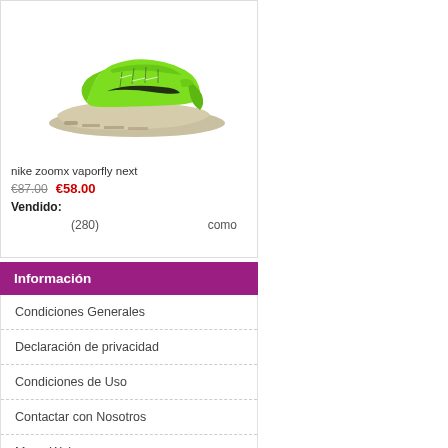[Figure (photo): Nike ZoomX Vaporfly Next running shoe in electric green/lime color with black swoosh and beige/grey foam sole, shown from the side on a white background.]
nike zoomx vaporfly next
€87.00  €58.00
Vendido:
(280)   como
Información
Condiciones Generales
Declaración de privacidad
Condiciones de Uso
Contactar con Nosotros
Mapa Web
Quién está en línea